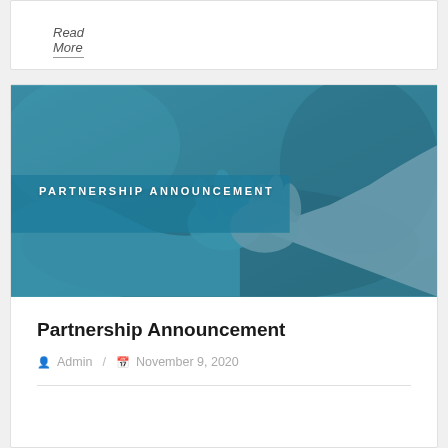Read More
[Figure (photo): A handshake between two people, one wearing a blue glove/sleeve, with a teal blue overlay and 'PARTNERSHIP ANNOUNCEMENT' text overlaid in white uppercase letters]
Partnership Announcement
Admin / November 9, 2020